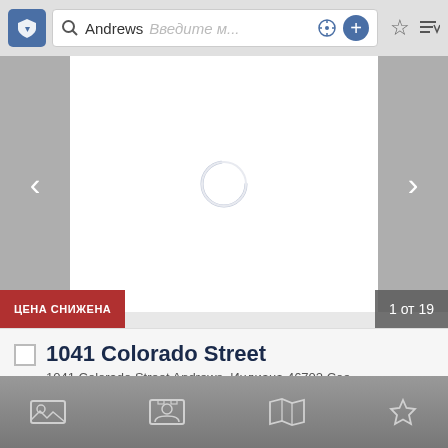[Figure (screenshot): Mobile app toolbar with shield icon, search bar showing 'Andrews', placeholder text 'Введите м...', compass icon, plus button, star icon, and sort icon]
[Figure (photo): Property listing image area with left/right navigation arrows and a loading spinner in the center]
ЦЕНА СНИЖЕНА
1 от 19
1041 Colorado Street
1041 Colorado Street Andrews, Индиана 46702 Сое...
3  2  1,232  $59,921
[Figure (screenshot): Bottom navigation bar with photo, contact, map, and favorite (star) icons on gray gradient background]